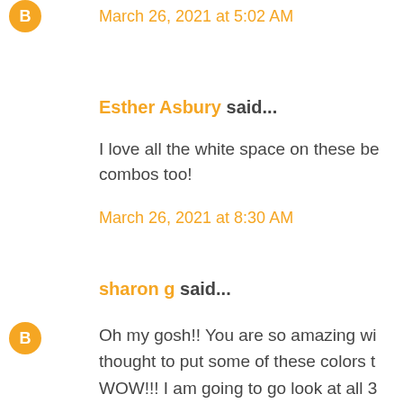March 26, 2021 at 5:02 AM
Esther Asbury said...
I love all the white space on these be combos too!
March 26, 2021 at 8:30 AM
sharon g said...
Oh my gosh!! You are so amazing wi thought to put some of these colors t WOW!!! I am going to go look at all 3